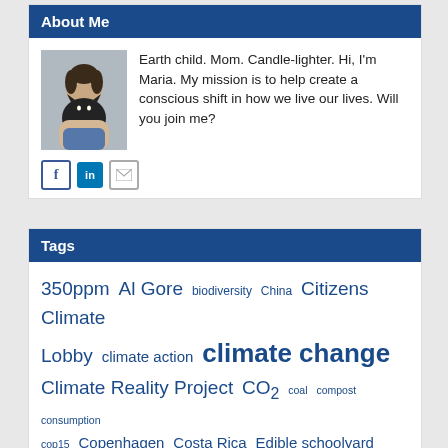About Me
[Figure (photo): Photo of Maria holding a black cat]
Earth child. Mom. Candle-lighter. Hi, I'm Maria. My mission is to help create a conscious shift in how we live our lives. Will you join me?
[Figure (other): Social media icons: Facebook, LinkedIn, Email]
Tags
350ppm Al Gore biodiversity China Citizens Climate Lobby climate action climate change Climate Reality Project CO2 coal compost consumption cop15 Copenhagen Costa Rica Edible schoolyard emissions Extreme weather Florida food waste Gandhi garbage Garden GHG global warming James Hansen leadership Miami natural resources oceans positive feedback red wigglers renewable energy South Florida stuff sustainable tar sands tipping point trees vegetable planting waste water worm castings worm factory worms